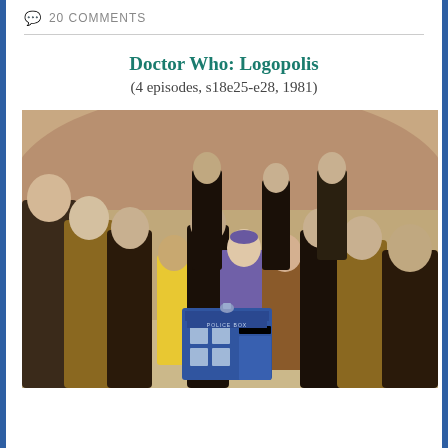20 COMMENTS
Doctor Who: Logopolis
(4 episodes, s18e25-e28, 1981)
[Figure (photo): Group photo from Doctor Who: Logopolis (1981). Multiple characters including robed figures in gold and black, a woman in purple, a young boy in yellow shirt, and a woman in brown coat, all standing around a small blue TARDIS police box prop on a studio set.]